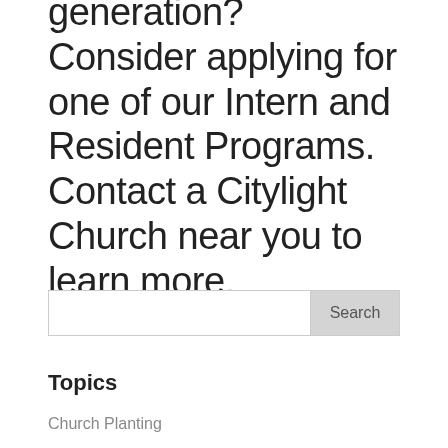generation? Consider applying for one of our Intern and Resident Programs. Contact a Citylight Church near you to learn more.
Search
Topics
Church Planting
Stories